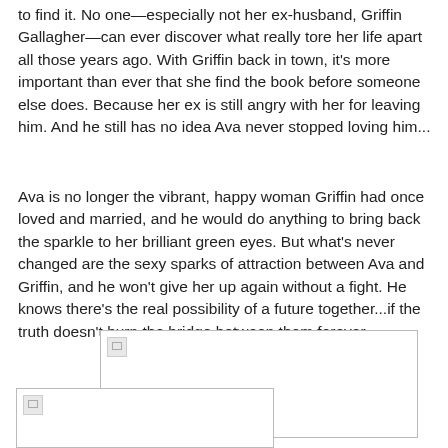to find it. No one—especially not her ex-husband, Griffin Gallagher—can ever discover what really tore her life apart all those years ago. With Griffin back in town, it's more important than ever that she find the book before someone else does. Because her ex is still angry with her for leaving him. And he still has no idea Ava never stopped loving him...
Ava is no longer the vibrant, happy woman Griffin had once loved and married, and he would do anything to bring back the sparkle to her brilliant green eyes. But what's never changed are the sexy sparks of attraction between Ava and Griffin, and he won't give her up again without a fight. He knows there's the real possibility of a future together...if the truth doesn't burn the bridge between them forever.
[Figure (photo): Broken image placeholder (book cover or related image), centered-right on page]
[Figure (photo): Broken image placeholder (book cover or related image), bottom-left on page]